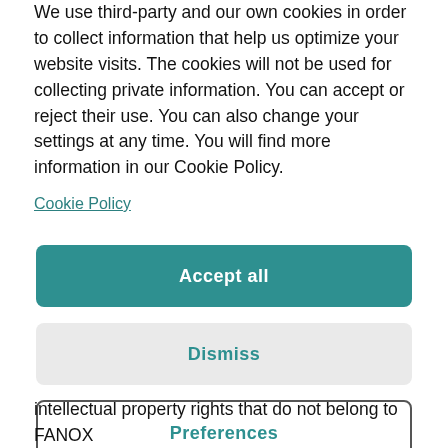We use third-party and our own cookies in order to collect information that help us optimize your website visits. The cookies will not be used for collecting private information. You can accept or reject their use. You can also change your settings at any time. You will find more information in our Cookie Policy.
Cookie Policy
Accept all
Dismiss
Preferences
intellectual property rights that do not belong to FANOX